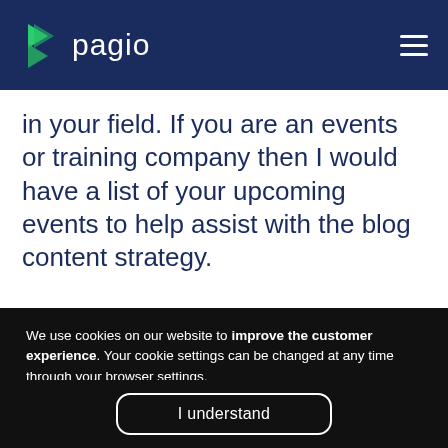pagio
in your field. If you are an events or training company then I would have a list of your upcoming events to help assist with the blog content strategy.
We use cookies on our website to improve the customer experience. Your cookie settings can be changed at any time through your browser settings.
I understand